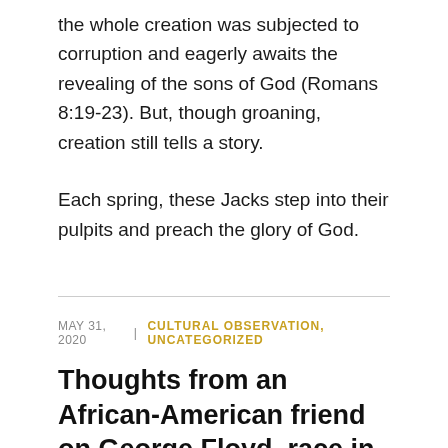the whole creation was subjected to corruption and eagerly awaits the revealing of the sons of God (Romans 8:19-23). But, though groaning, creation still tells a story.
Each spring, these Jacks step into their pulpits and preach the glory of God.
MAY 31, 2020  |  CULTURAL OBSERVATION, UNCATEGORIZED
Thoughts from an African-American friend on George Floyd, race in America
Russell Phillips is a friend of mine, an African-